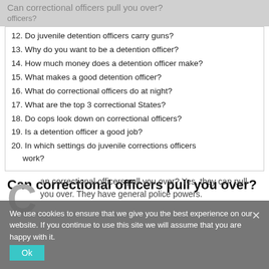Can correctional officers pull you over?
officers?
12. Do juvenile detention officers carry guns?
13. Why do you want to be a detention officer?
14. How much money does a detention officer make?
15. What makes a good detention officer?
16. What do correctional officers do at night?
17. What are the top 3 correctional States?
18. Do cops look down on correctional officers?
19. Is a detention officer a good job?
20. In which settings do juvenile corrections officers work?
Can correctional officers pull you over?
Can correctional officers pull you over? Yes, they can pull you over. They have general police powers.
We use cookies to ensure that we give you the best experience on our website. If you continue to use this site we will assume that you are happy with it.